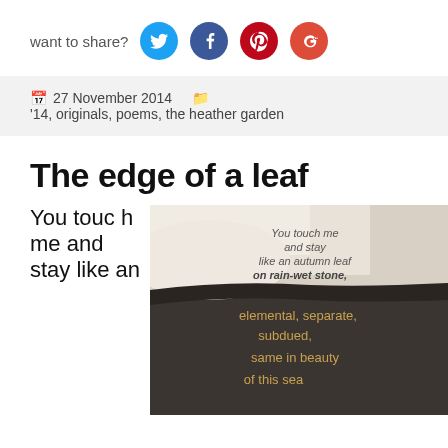want to share?
[Figure (infographic): Social share icons: Twitter (blue circle), Facebook (dark blue circle), Pinterest (red circle), Google+ (red circle)]
27 November 2014  '14, originals, poems, the heather garden
The edge of a leaf
You touch h me and stay like an
[Figure (photo): Close-up photo of a leaf or stone surface with poem text overlaid: 'You touch me and stay like an autumn leaf on rain-wet stone, elemental, separate, subdued, same in beauty of this sea']